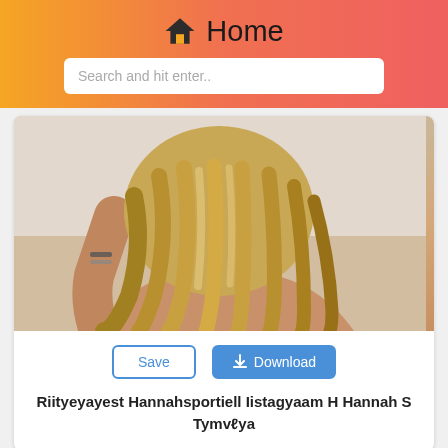Home
Search and hit enter..
[Figure (photo): Woman seen from behind with long blonde wavy hair, hand raised behind head, wearing a white strap top.]
Save
Download
Riityeyayest Hannahsportiell Iistagyaam H Hannah S Tymvℓya